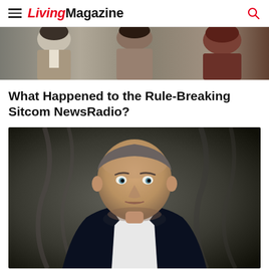LivingMagazine
[Figure (photo): Top cropped image showing multiple people, appears to be a TV show cast photo with people in period/casual clothing]
What Happened to the Rule-Breaking Sitcom NewsRadio?
[Figure (photo): Portrait photograph of an older man in a tuxedo with bow tie, dark dramatic background, formal studio-style portrait]